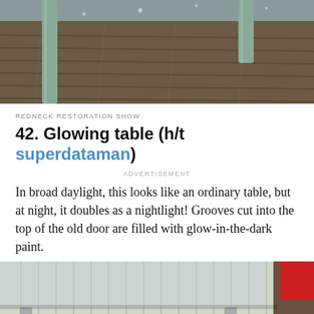[Figure (photo): Top-down view of a wooden plank surface with metal pipe legs of a table, in outdoor daylight]
REDNECK RESTORATION SHOW
42. Glowing table (h/t superdataman)
ADVERTISEMENT
In broad daylight, this looks like an ordinary table, but at night, it doubles as a nightlight! Grooves cut into the top of the old door are filled with glow-in-the-dark paint.
[Figure (photo): Close-up of a table with metal pipe legs and a glass or clear top surface, against a corrugated wall background with a red item visible at top right]